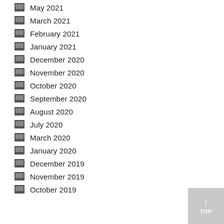May 2021
March 2021
February 2021
January 2021
December 2020
November 2020
October 2020
September 2020
August 2020
July 2020
March 2020
January 2020
December 2019
November 2019
October 2019